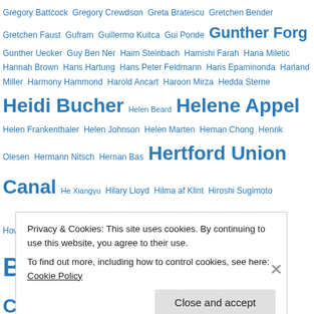Gregory Battcock Gregory Crewdson Greta Bratescu Gretchen Bender Gretchen Faust Gufram Guillermo Kuitca Gui Ponde Gunther Forg Gunther Uecker Guy Ben Ner Haim Steinbach Hamishi Farah Hana Miletic Hannah Brown Hans Hartung Hans Peter Feldmann Haris Epaminonda Harland Miller Harmony Hammond Harold Ancart Haroon Mirza Hedda Sterne Heidi Bucher Helen Beard Helene Appel Helen Frankenthaler Helen Johnson Helen Marten Heman Chong Henrik Olesen Hermann Nitsch Hernan Bas Hertford Union Canal He Xiangyu Hilary Lloyd Hilma af Klint Hiroshi Sugimoto Howardena Pindell Howard Hodgkin Huma Bhabha Hunter Reynolds Hyon Gyon Ian Cheng Ian Law Ian McKeever Ibrahim Mahama ICA Ida Ekblad Idris Kahn Ik Joong Kang Ilya and Emilia Kabakov Imran Qureshi Invader Inventory Irma Blank Isaac Julien Isa Genzken
Privacy & Cookies: This site uses cookies. By continuing to use this website, you agree to their use. To find out more, including how to control cookies, see here: Cookie Policy